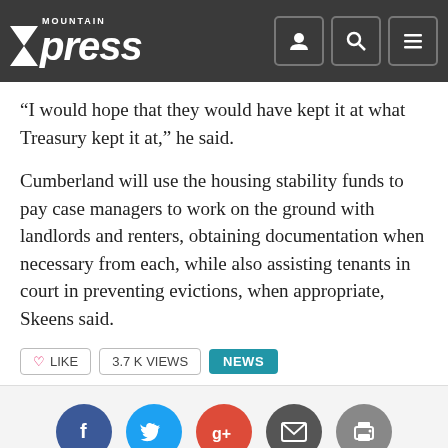Mountain Xpress
“I would hope that they would have kept it at what Treasury kept it at,” he said.
Cumberland will use the housing stability funds to pay case managers to work on the ground with landlords and renters, obtaining documentation when necessary from each, while also assisting tenants in court in preventing evictions, when appropriate, Skeens said.
♥ LIKE   3.7 K VIEWS   NEWS
[Figure (infographic): Social share buttons: Facebook (blue circle), Twitter (cyan circle), Google+ (red circle), Email (dark circle), Print (gray circle)]
Thanks for reading through to the end...
We share your inclination to get the whole story. For the past 25 years, Xpress has been committed to in-depth, balanced reporting about the greater Asheville area. We